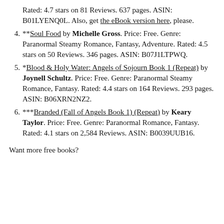Rated: 4.7 stars on 81 Reviews. 637 pages. ASIN: B01LYENQ0L. Also, get the eBook version here, please.
4. **Soul Food by Michelle Gross. Price: Free. Genre: Paranormal Steamy Romance, Fantasy, Adventure. Rated: 4.5 stars on 50 Reviews. 346 pages. ASIN: B07J1LTPWQ.
5. *Blood & Holy Water: Angels of Sojourn Book 1 (Repeat) by Joynell Schultz. Price: Free. Genre: Paranormal Steamy Romance, Fantasy. Rated: 4.4 stars on 164 Reviews. 293 pages. ASIN: B06XRN2NZ2.
6. ***Branded (Fall of Angels Book 1) (Repeat) by Keary Taylor. Price: Free. Genre: Paranormal Romance, Fantasy. Rated: 4.1 stars on 2,584 Reviews. ASIN: B0039UUB16.
Want more free books?